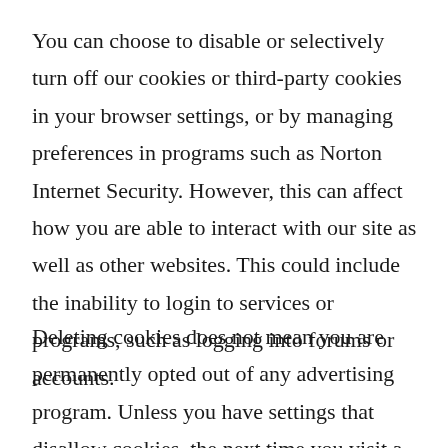You can choose to disable or selectively turn off our cookies or third-party cookies in your browser settings, or by managing preferences in programs such as Norton Internet Security. However, this can affect how you are able to interact with our site as well as other websites. This could include the inability to login to services or programs, such as logging into forums or accounts.
Deleting cookies does not mean you are permanently opted out of any advertising program. Unless you have settings that disallow cookies, the next time you visit a